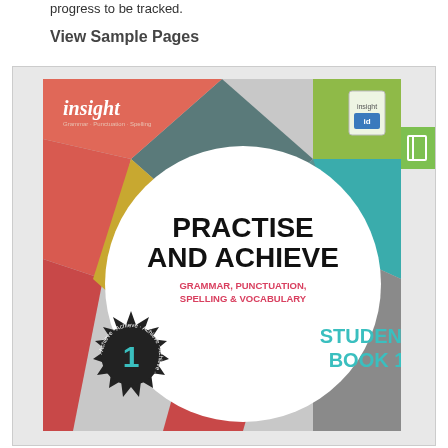progress to be tracked.
View Sample Pages
[Figure (photo): Book cover of 'Practise and Achieve: Grammar, Punctuation, Spelling & Vocabulary – Student Book 1' published by Insight. The cover features colorful geometric diamond/rhombus shapes in teal, coral/red, green, gold, and grey against a textured background. A large white circle in the center displays the title text. A black starburst badge with the number '1' in teal appears at the bottom left. The Insight logo appears at the top left in white italic text.]